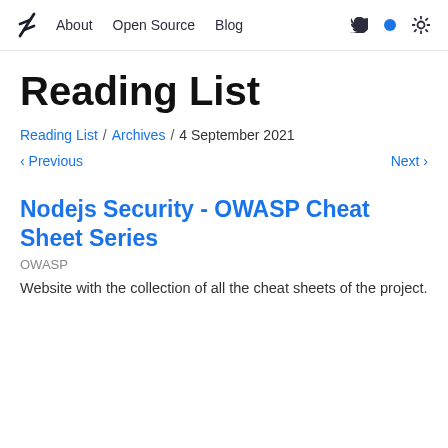About  Open Source  Blog
Reading List
Reading List / Archives / 4 September 2021
< Previous   Next >
Nodejs Security - OWASP Cheat Sheet Series
OWASP
Website with the collection of all the cheat sheets of the project.